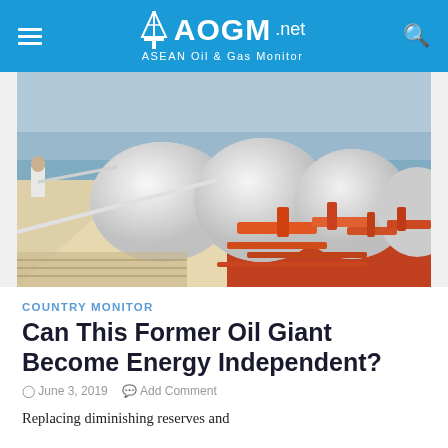AOGM.net ASEAN Oil & Gas Monitor
[Figure (photo): Aerial view of an LNG tanker ship showing large white spherical gas storage domes on the vessel deck, with orange industrial equipment visible. A person in white is visible in the foreground left. Ocean and cloudy sky in background.]
COUNTRY MONITOR
Can This Former Oil Giant Become Energy Independent?
June 3, 2019   Add Comment
Replacing diminishing reserves and